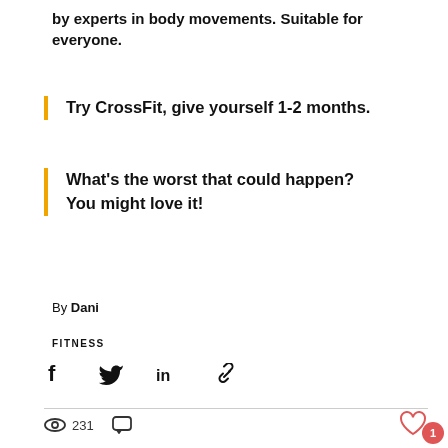by experts in body movements. Suitable for everyone.
Try CrossFit, give yourself 1-2 months.
What's the worst that could happen? You might love it!
By Dani
FITNESS
[Figure (infographic): Social share icons: Facebook, Twitter, LinkedIn, Link/chain]
231
[Figure (infographic): Heart/like icon in red outline]